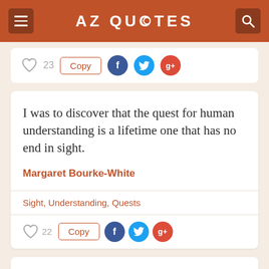AZ QUOTES
[Figure (screenshot): Partial quote card showing share/copy buttons and social icons (top of page, cropped)]
I was to discover that the quest for human understanding is a lifetime one that has no end in sight.
Margaret Bourke-White
Sight, Understanding, Quests
[Figure (other): Heart icon with count 22, Copy button, Facebook icon, Twitter icon, Google+ icon]
The very secret of life for mewas to maintain in the midst of rushing events an inner tranquility. I had